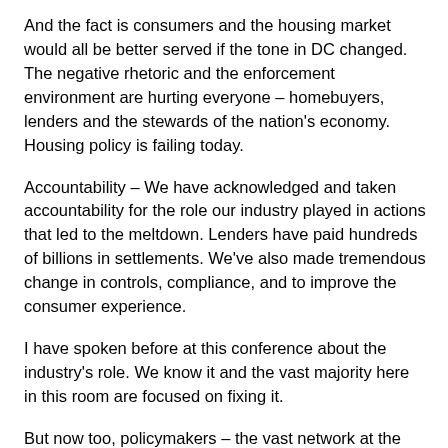And the fact is consumers and the housing market would all be better served if the tone in DC changed. The negative rhetoric and the enforcement environment are hurting everyone – homebuyers, lenders and the stewards of the nation's economy. Housing policy is failing today.
Accountability – We have acknowledged and taken accountability for the role our industry played in actions that led to the meltdown. Lenders have paid hundreds of billions in settlements. We've also made tremendous change in controls, compliance, and to improve the consumer experience.
I have spoken before at this conference about the industry's role. We know it and the vast majority here in this room are focused on fixing it.
But now too, policymakers – the vast network at the federal and state level – must account for their role in the recovery. They must account for their role in credit access and consumer confidence. It's time to